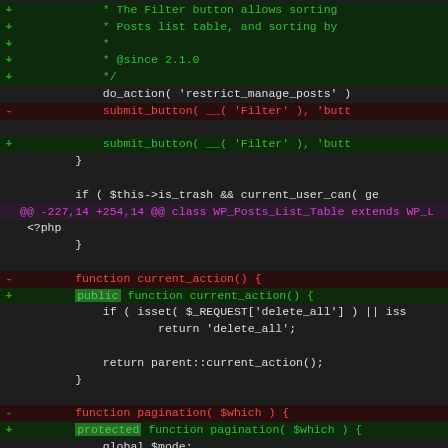[Figure (screenshot): A code diff view showing PHP source changes in a dark-themed editor. Green lines show additions, red lines show removals, and magenta lines show diff hunk headers.]